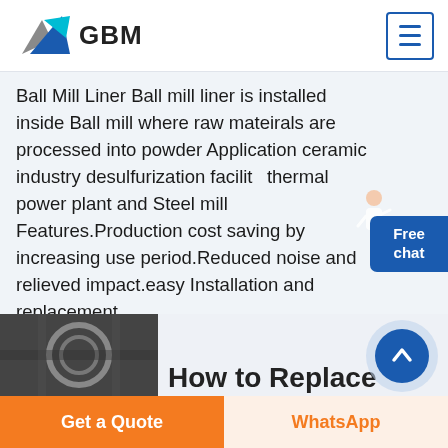[Figure (logo): GBM company logo with blue/gray mountain/arrow graphic and bold GBM text]
Ball Mill Liner Ball mill liner is installed inside Ball mill where raw mateirals are processed into powder Application ceramic industry desulfurization facility thermal power plant and Steel mill Features.Production cost saving by increasing use period.Reduced noise and relieved impact.easy Installation and replacement.
Get Price
How to Replace
Get a Quote
WhatsApp